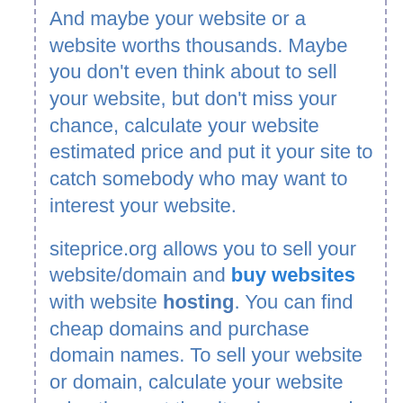And maybe your website or a website worths thousands. Maybe you don't even think about to sell your website, but don't miss your chance, calculate your website estimated price and put it your site to catch somebody who may want to interest your website.
siteprice.org allows you to sell your website/domain and buy websites with website hosting. You can find cheap domains and purchase domain names. To sell your website or domain, calculate your website price then put the siteprice.org code to your website to attrack your visitors to sell your website/domain and tell them you may sell your website or domain.
If you want to sell websites you own or buy an already existing website, siteprice.org is one of the easiest place that you can find. We want to bring sellers and buyers together and contact